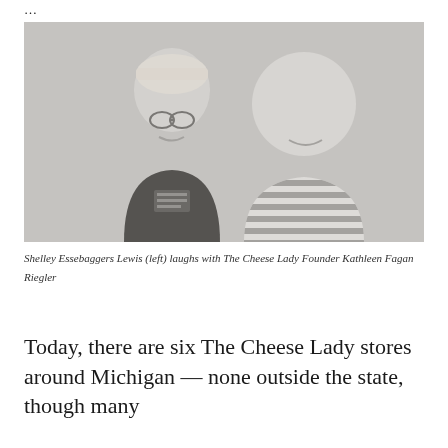…
[Figure (photo): Two women laughing together indoors. The woman on the left wears a dark t-shirt and a patterned hat or head covering. The woman on the right wears a striped shirt. The image is in muted/faded tones.]
Shelley Essebaggers Lewis (left) laughs with The Cheese Lady Founder Kathleen Fagan Riegler
Today, there are six The Cheese Lady stores around Michigan — none outside the state, though many